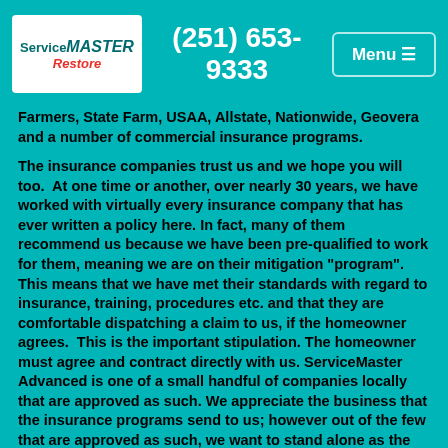[Figure (logo): ServiceMaster Restore logo in white box]
(251) 653-9333
Menu ≡
Farmers, State Farm, USAA, Allstate, Nationwide, Geovera and a number of commercial insurance programs.
The insurance companies trust us and we hope you will too.  At one time or another, over nearly 30 years, we have worked with virtually every insurance company that has ever written a policy here. In fact, many of them recommend us because we have been pre-qualified to work for them, meaning we are on their mitigation "program". This means that we have met their standards with regard to insurance, training, procedures etc. and that they are comfortable dispatching a claim to us, if the homeowner agrees.  This is the important stipulation. The homeowner must agree and contract directly with us. ServiceMaster Advanced is one of a small handful of companies locally that are approved as such. We appreciate the business that the insurance programs send to us; however out of the few that are approved as such, we want to stand alone as the best. We want to earn your business and be deserving of your trust, not only because the insurance company recommended us, but because our reputation and policies are such that you would have hired us anyway.
Remember that YOU AND YOU ALONE, decide who works in your